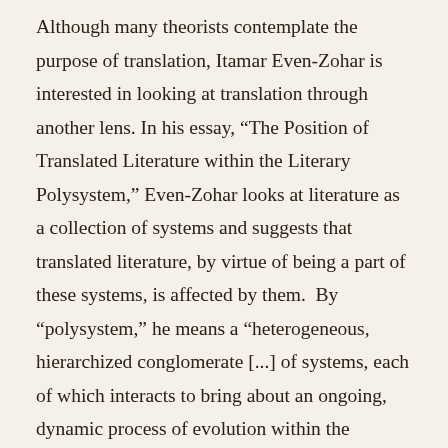Although many theorists contemplate the purpose of translation, Itamar Even-Zohar is interested in looking at translation through another lens. In his essay, “The Position of Translated Literature within the Literary Polysystem,” Even-Zohar looks at literature as a collection of systems and suggests that translated literature, by virtue of being a part of these systems, is affected by them. By “polysystem,” he means a “heterogeneous, hierarchized conglomerate [...] of systems, each of which interacts to bring about an ongoing, dynamic process of evolution within the polysystem as a whole” (Munday, 108). This view of literary translation as a part of a larger social framework represents a break from other theories in that it attempts to describe rather than condone modes of translation, which makes it particularly useful in